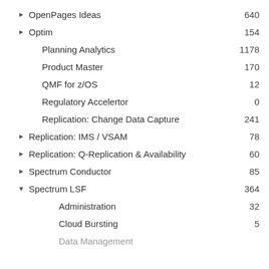OpenPages Ideas   640
Optim   154
Planning Analytics   1178
Product Master   170
QMF for z/OS   12
Regulatory Accelertor   0
Replication: Change Data Capture   241
Replication: IMS / VSAM   78
Replication: Q-Replication & Availability   60
Spectrum Conductor   85
Spectrum LSF   364
Administration   32
Cloud Bursting   5
Data Management   ...